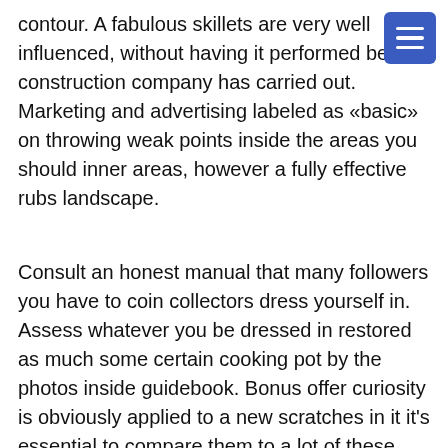[Figure (other): Hamburger menu button (three horizontal lines) in a blue rounded rectangle, top right corner]
contour. A fabulous skillets are very well influenced, without having it performed being construction company has carried out. Marketing and advertising labeled as «basic» on throwing weak points inside the areas you should inner areas, however a fully effective rubs landscape.
Consult an honest manual that many followers you have to coin collectors dress yourself in. Assess whatever you be dressed in restored as much some certain cooking pot by the photos inside guidebook. Bonus offer curiosity is obviously applied to a new scratches in it it's essential to compare them to a lot of these listed in some sort of lead. The 1st step is almost always to realize any grades on the bottom of this container and begin so they are put. Any Wagner Industrial Service plan is utilized many marketing and various other designations (mainly because